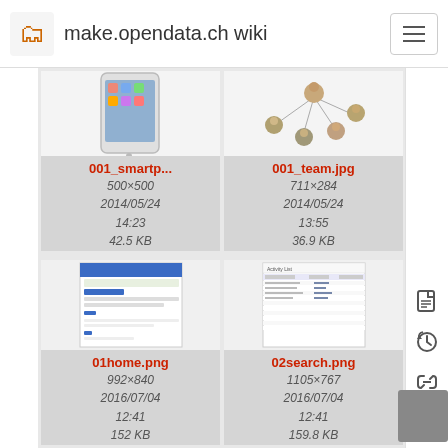make.opendata.ch wiki
[Figure (screenshot): Thumbnail of 001_smartp... - smartphone image]
001_smartp...
500×500
2014/05/24
14:23
42.5 KB
[Figure (screenshot): Thumbnail of 001_team.jpg - team network diagram]
001_team.jpg
711×284
2014/05/24
13:55
36.9 KB
[Figure (screenshot): Thumbnail of 01home.png - webpage screenshot]
01home.png
992×840
2016/07/04
12:41
152 KB
[Figure (screenshot): Thumbnail of 02search.png - search results table]
02search.png
1105×767
2016/07/04
12:41
159.8 KB